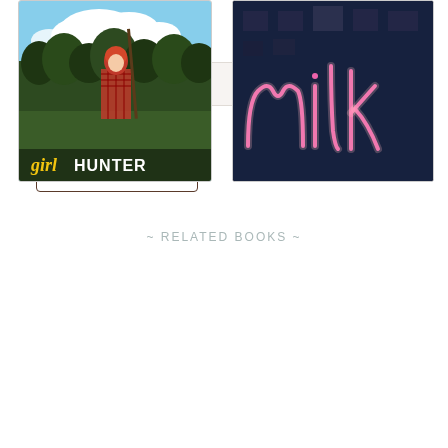Website
[Figure (screenshot): Empty rounded input field for website URL entry with light beige background]
[Figure (screenshot): Post Comment button with border and serif font text]
~ RELATED BOOKS ~
[Figure (photo): Book cover for 'Girl Hunter' showing a red-haired woman in plaid shirt holding a rifle in a field with trees and clouds, with stylized yellow cursive 'girl' and block caps 'HUNTER' text at bottom]
[Figure (photo): Book cover showing pink neon script sign reading 'milk' against a dark blue urban building background at night]